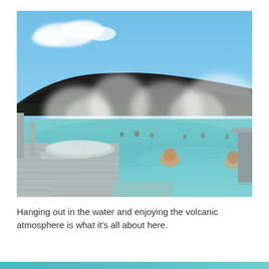[Figure (photo): Outdoor geothermal pool (Blue Lagoon in Iceland) with milky turquoise blue water and steam rising from the surface. Two people are visible in the foreground in the water. A wooden deck structure is visible on the left and bottom. Dark volcanic mountains are in the background under a partly cloudy blue sky.]
Hanging out in the water and enjoying the volcanic atmosphere is what it's all about here.